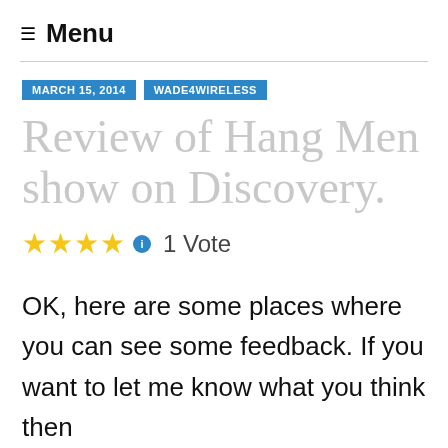≡ Menu
MARCH 15, 2014   WADE4WIRELESS
Review of Hang Men show on Discovery.
★★★★ ℹ  1 Vote
OK, here are some places where you can see some feedback. If you want to let me know what you think then